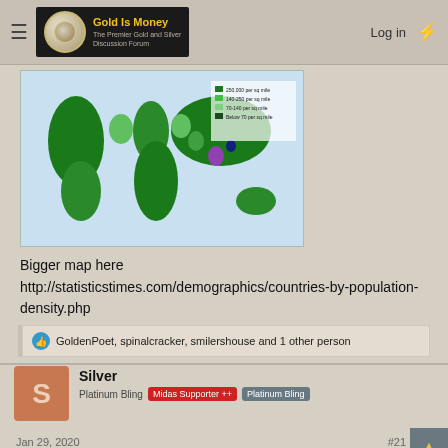Gold Is Money — The Premier Gold and Silver Discussion Forum
[Figure (map): World population density map with green color gradient and purple/dark highlights for certain regions]
Bigger map here http://statisticstimes.com/demographics/countries-by-population-density.php
GoldenPoet, spinalcracker, smilershouse and 1 other person
Silver
Platinum Bling  Midas Supporter ++  Platinum Bling
Jan 29, 2020
Ron Paul is still an MD and keeps up with his profession. There have been thousands (16,000) of deaths from flu this season